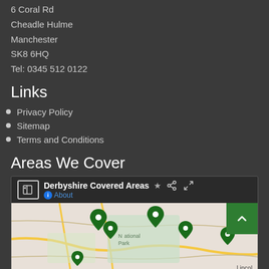6 Coral Rd
Cheadle Hulme
Manchester
SK8 6HQ
Tel: 0345 512 0122
Links
Privacy Policy
Sitemap
Terms and Conditions
Areas We Cover
[Figure (map): Google Maps embed showing 'Derbyshire Covered Areas' with multiple green map pin markers. The map shows a road/terrain view with a National Park label visible. A green scroll-up button is visible in the top-right corner. An info bar at top shows the map title, a star icon, share icon, and fullscreen icon, plus an 'About' link.]